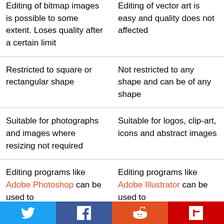| Editing of bitmap images is possible to some extent. Loses quality after a certain limit | Editing of vector art is easy and quality does not affected |
| Restricted to square or rectangular shape | Not restricted to any shape and can be of any shape |
| Suitable for photographs and images where resizing not required | Suitable for logos, clip-art, icons and abstract images |
| Editing programs like Adobe Photoshop can be used to | Editing programs like Adobe Illustrator can be used to |
[Figure (infographic): Social sharing bar with Twitter, Facebook, Reddit, and Flipboard buttons]